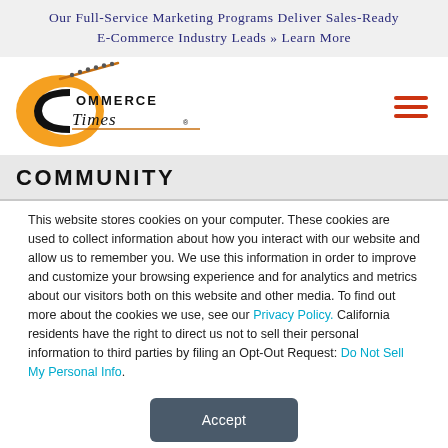Our Full-Service Marketing Programs Deliver Sales-Ready E-Commerce Industry Leads » Learn More
[Figure (logo): E-Commerce Times logo with stylized orange 'E' and black serif 'Commerce Times' text]
COMMUNITY
This website stores cookies on your computer. These cookies are used to collect information about how you interact with our website and allow us to remember you. We use this information in order to improve and customize your browsing experience and for analytics and metrics about our visitors both on this website and other media. To find out more about the cookies we use, see our Privacy Policy. California residents have the right to direct us not to sell their personal information to third parties by filing an Opt-Out Request: Do Not Sell My Personal Info.
Accept